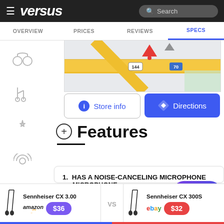versus — OVERVIEW | PRICES | REVIEWS | SPECS
[Figure (map): Road map showing intersection near location marker]
Store info | Directions
Features
1. HAS A NOISE-CANCELING MICROPHONE
✗ Sennheiser CX 3.00
Sennheiser CX 3.00 vs Sennheiser CX 300S — amazon $36 | ebay $32